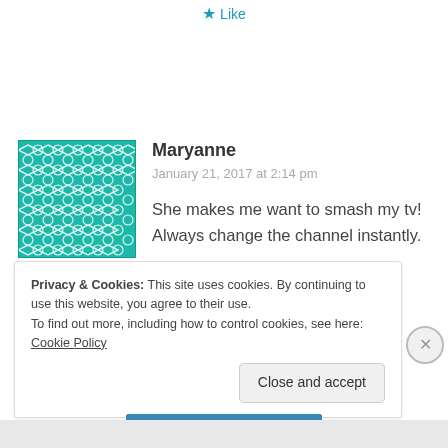★ Like
[Figure (illustration): Teal/turquoise geometric tile pattern avatar image for user Maryanne]
Maryanne
January 21, 2017 at 2:14 pm
She makes me want to smash my tv! Always change the channel instantly.
★ Like
Reply
Privacy & Cookies: This site uses cookies. By continuing to use this website, you agree to their use.
To find out more, including how to control cookies, see here: Cookie Policy
Close and accept